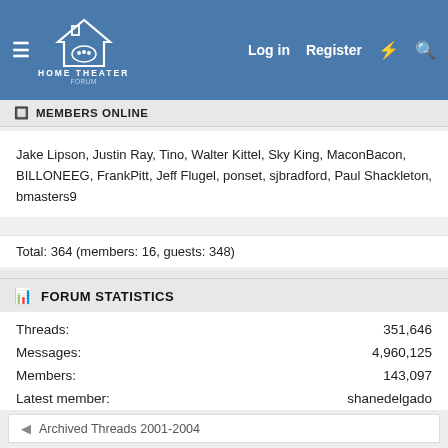Home Theater Forum — Log in | Register
MEMBERS ONLINE
Jake Lipson, Justin Ray, Tino, Walter Kittel, Sky King, MaconBacon, BILLONEEG, FrankPitt, Jeff Flugel, ponset, sjbradford, Paul Shackleton, bmasters9
Total: 364 (members: 16, guests: 348)
FORUM STATISTICS
| Label | Value |
| --- | --- |
| Threads: | 351,646 |
| Messages: | 4,960,125 |
| Members: | 143,097 |
| Latest member: | shanedelgado |
| Recent bookmarks: | 0 |
Archived Threads 2001-2004